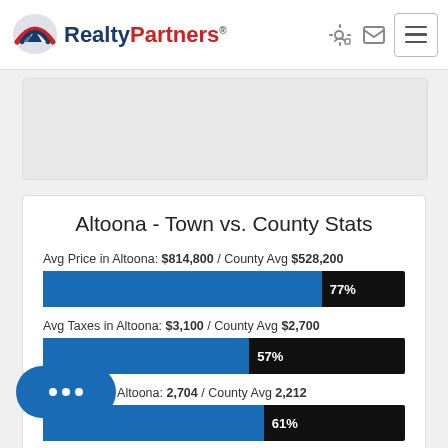[Figure (logo): RealtyPartners logo with mountain/arch icon and brand name]
[Figure (other): Map or property image placeholder (gray card)]
Altoona - Town vs. County Stats
[Figure (bar-chart): Altoona - Town vs. County Stats]